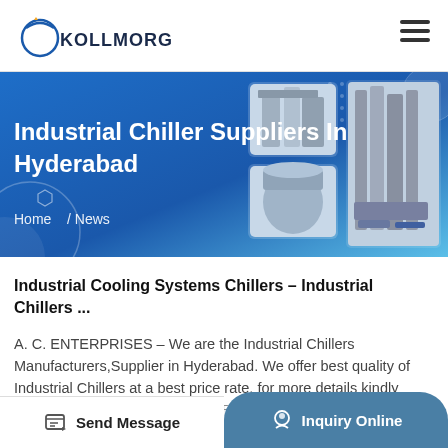KOLLMORGEN
[Figure (screenshot): Hero banner with blue gradient background showing industrial chiller machinery photos on right, decorative circles and dot pattern, title 'Industrial Chiller Suppliers In Hyderabad' and breadcrumb 'Home / News']
Industrial Cooling Systems Chillers – Industrial Chillers ...
A. C. ENTERPRISES – We are the Industrial Chillers Manufacturers,Supplier in Hyderabad. We offer best quality of Industrial Chillers at a best price rate, for more details kindly contact us. Back to top A. C. ENTERPRISES
Send Message | Inquiry Online